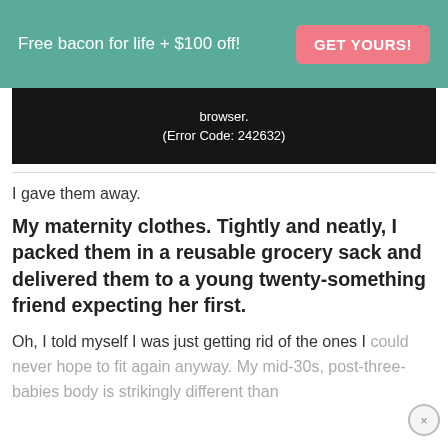Free bacon for life + $100 off! GET YOURS!
[Figure (screenshot): Video player error message on dark background: 'browser. (Error Code: 242632)']
I gave them away.
My maternity clothes. Tightly and neatly, I packed them in a reusable grocery sack and delivered them to a young twenty-something friend expecting her first.
Oh, I told myself I was just getting rid of the ones I could never hope to fit again anyway. My mid-30s, post-three-babies body is strikingly different than